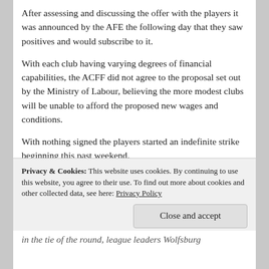After assessing and discussing the offer with the players it was announced by the AFE the following day that they saw positives and would subscribe to it.
With each club having varying degrees of financial capabilities, the ACFF did not agree to the proposal set out by the Ministry of Labour, believing the more modest clubs will be unable to afford the proposed new wages and conditions.
With nothing signed the players started an indefinite strike beginning this past weekend.
Cup action takes centre stage in Germany this week
Privacy & Cookies: This website uses cookies. By continuing to use this website, you agree to their use. To find out more about cookies and other collected data, see here: Privacy Policy
In the tie of the round, league leaders Wolfsburg